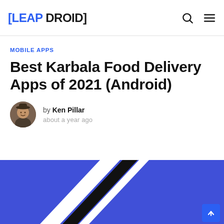[LEAP DROID]
MOBILE APPS
Best Karbala Food Delivery Apps of 2021 (Android)
by Ken Pillar
about a year ago
[Figure (illustration): Hero image with blue background and diagonal black and white stripes, representing a food delivery app graphic.]